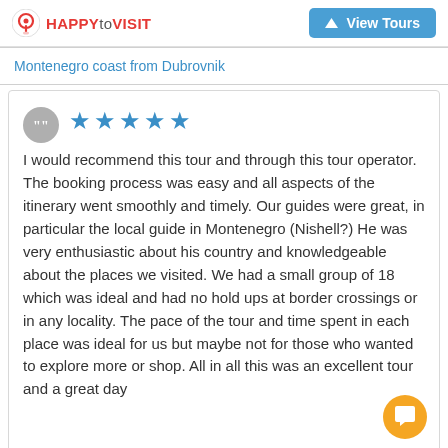HAPPYtoVISIT | View Tours
Montenegro coast from Dubrovnik
I would recommend this tour and through this tour operator. The booking process was easy and all aspects of the itinerary went smoothly and timely. Our guides were great, in particular the local guide in Montenegro (Nishell?) He was very enthusiastic about his country and knowledgeable about the places we visited. We had a small group of 18 which was ideal and had no hold ups at border crossings or in any locality. The pace of the tour and time spent in each place was ideal for us but maybe not for those who wanted to explore more or shop. All in all this was an excellent tour and a great day